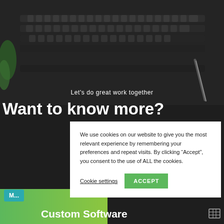[Figure (screenshot): Dark background website screenshot showing keyboard/desk photo with overlaid text and a cookie consent popup dialog]
Let's do great work together
Want to know more?
We use cookies on our website to give you the most relevant experience by remembering your preferences and repeat visits. By clicking “Accept”, you consent to the use of ALL the cookies.
Cookie settings
ACCEPT
M...
Custom Software